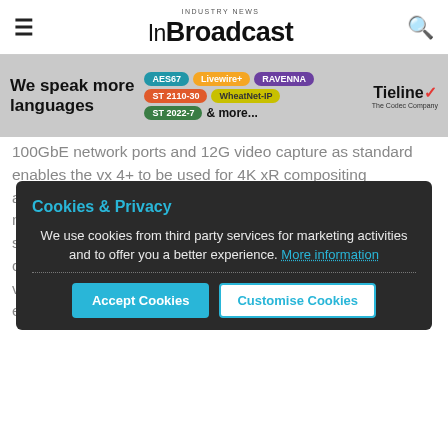InBroadcast — Industry News
[Figure (infographic): Tieline 'We speak more languages' advertisement banner showing protocol badges: AES67, Livewire+, RAVENNA, ST 2110-30, WheatNet-IP, ST 2022-7, & more...]
100GbE network ports and 12G video capture as standard enables the vx 4+ to be used for 4K xR compositing alongside a cluster of rx render nodes. The integration of a new PCI-Express 4.0 motherboard, CPU, GPU and RAID storage, ensures that the vx 4+ video playback and compositing performance is unrivalled. When combined, the vx 4+ enables additional capacity to meet performance expectations whilst also keeping video latency to a minimum.
Cookies & Privacy
We use cookies from third party services for marketing activities and to offer you a better experience. More information
[Accept Cookies] [Customise Cookies]
As disguise continues its mission to ensure that next-gen visual experiences are brought to life everywhere, the vx 4+ is compatible with disguise's upcoming IP Video Format Conversion (VFC) cards to be released in the second half of the year. IP VFC is an industry-first and patented